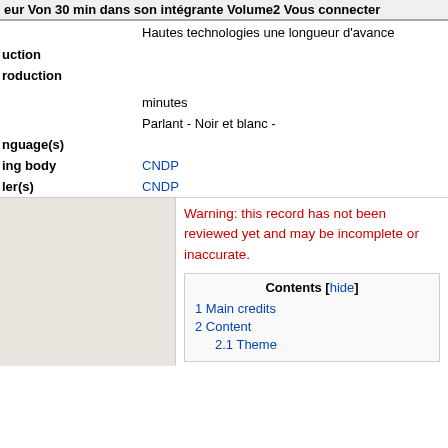...eur Von 30 min dans son intégrante Volume2 Vous connecter
| Field | Value |
| --- | --- |
|  | Hautes technologies une longueur d'avance |
| uction |  |
| roduction |  |
|  | minutes |
|  | Parlant - Noir et blanc - |
| nguage(s) |  |
| ing body | CNDP |
| ler(s) | CNDP |
Warning: this record has not been reviewed yet and may be incomplete or inaccurate.
Contents [hide]
1 Main credits
2 Content
2.1 Theme